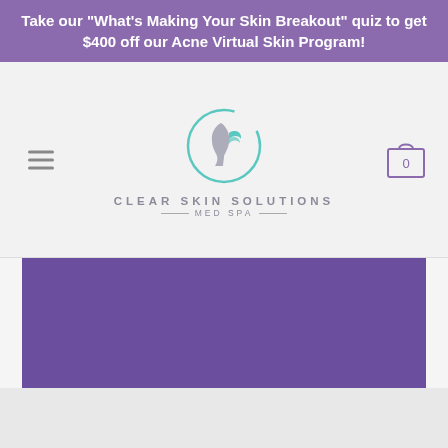Take our "What's Making Your Skin Breakout" quiz to get $400 off our Acne Virtual Skin Program!
[Figure (logo): Clear Skin Solutions Med Spa logo — circular teal arc with stylized face silhouette, with text 'CLEAR SKIN SOLUTIONS' and 'MED SPA' below]
[Figure (other): Purple hero/banner image block — solid purple rectangle serving as hero section placeholder]
[Figure (other): Light grey content area below the hero section]